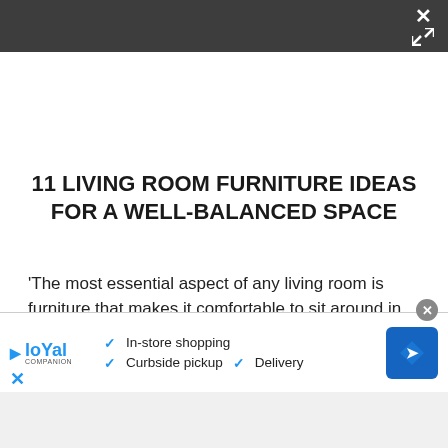[dark toolbar with close/expand icons]
11 LIVING ROOM FURNITURE IDEAS FOR A WELL-BALANCED SPACE
'The most essential aspect of any living room is furniture that makes it comfortable to sit around in peace,' says architect Jeanne Schultz. 'Whether it's a sofa, a lounge chair, or a stool, the space needs to
[Figure (infographic): Advertisement banner for Loyal Companions showing logo, checkmarks for In-store shopping, Curbside pickup, Delivery, and a blue navigation diamond icon. Has a close X button and bottom close X link.]